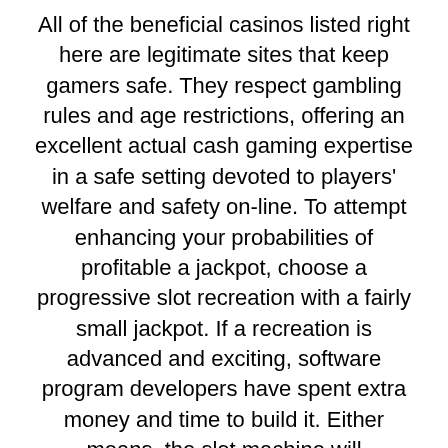All of the beneficial casinos listed right here are legitimate sites that keep gamers safe. They respect gambling rules and age restrictions, offering an excellent actual cash gaming expertise in a safe setting devoted to players' welfare and safety on-line. To attempt enhancing your probabilities of profitable a jackpot, choose a progressive slot recreation with a fairly small jackpot. If a recreation is advanced and exciting, software program developers have spent extra money and time to build it. Either means, the slot machine will nonetheless be truthful and random. Provided you play at a recommended online slots casino, and keep away from any blacklisted websites, your private particulars and your cash will keep